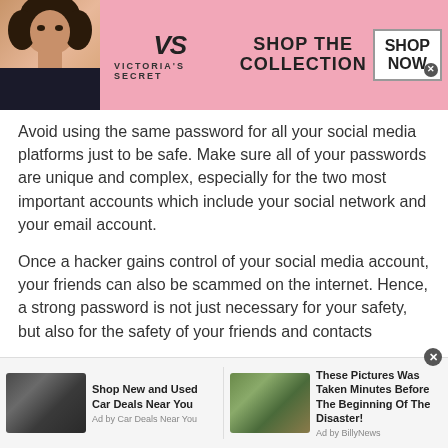[Figure (illustration): Victoria's Secret advertisement banner with model, logo, 'SHOP THE COLLECTION' text, and 'SHOP NOW' button on pink background]
Avoid using the same password for all your social media platforms just to be safe. Make sure all of your passwords are unique and complex, especially for the two most important accounts which include your social network and your email account.
Once a hacker gains control of your social media account, your friends can also be scammed on the internet. Hence, a strong password is not just necessary for your safety, but also for the safety of your friends and contacts
[Figure (illustration): Bottom advertisement bar with two ad items: 'Shop New and Used Car Deals Near You' (Ad by Car Deals Near You) and 'These Pictures Was Taken Minutes Before The Beginning Of The Disaster!' (Ad by BillyNews)]